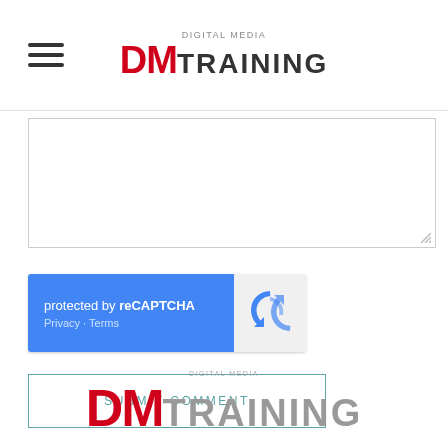[Figure (logo): Digital Media DM TRAINING logo in header with hamburger menu icon on left]
[Figure (screenshot): Empty textarea input field with resize handle in bottom-right corner]
[Figure (screenshot): reCAPTCHA widget: blue left panel with text 'protected by reCAPTCHA' and Privacy - Terms links, grey right panel with reCAPTCHA logo]
[Figure (screenshot): Submit Comment button with teal border and uppercase teal text 'SUBMIT COMMENT']
[Figure (logo): Digital Media DM TRAINING footer logo, larger version, DM in red, TRAINING in grey]